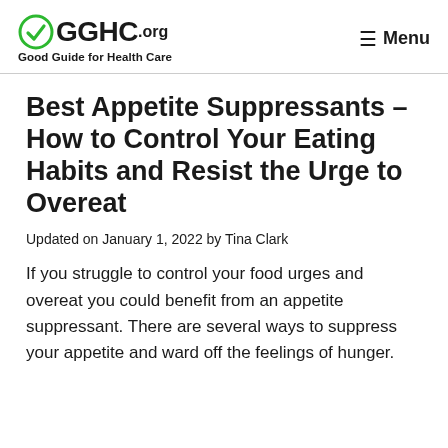GGHC.org Good Guide for Health Care | Menu
Best Appetite Suppressants – How to Control Your Eating Habits and Resist the Urge to Overeat
Updated on January 1, 2022 by Tina Clark
If you struggle to control your food urges and overeat you could benefit from an appetite suppressant. There are several ways to suppress your appetite and ward off the feelings of hunger.